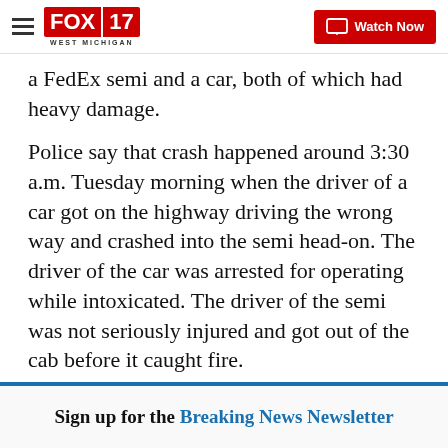FOX 17 WEST MICHIGAN | Watch Now
a FedEx semi and a car, both of which had heavy damage.
Police say that crash happened around 3:30 a.m. Tuesday morning when the driver of a car got on the highway driving the wrong way and crashed into the semi head-on. The driver of the car was arrested for operating while intoxicated. The driver of the semi was not seriously injured and got out of the cab before it caught fire.
Copyright 2020 Scripps Media, Inc. All rights reserved. This material may not be published, broadcast, rewritten, or redistributed.
Sign up for the Breaking News Newsletter